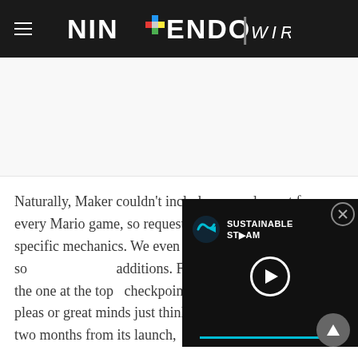Nintendo Wire
[Figure (screenshot): White advertisement/image placeholder space]
Naturally, Maker couldn't include every element from every Mario game, so requests began swirling for specific mechanics. We even published a want list of so[me of our desired] additions. Far and away th[e most requested] tool, and the one at the top [of many lists, was] checkpoints. Well, either N[intendo listened] to these pleas or great minds just think alike, because less than two months from its launch,
[Figure (screenshot): Floating video player overlay showing Sustainable Stream logo with play button and progress bar on dark background]